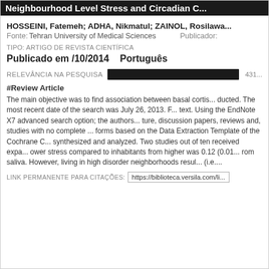Neighbourhood Level Stress and Circadian C...
HOSSEINI, Fatemeh; ADHA, Nikmatul; ZAINOL, Rosilawa...
Fonte: Tehran University of Medical Sciences    Publicador:
TIPO: ARTIGO DE REVISTA CIENTÍFICA
Publicado em /10/2014    Português
RELEVÂNCIA NA PESQUISA  [bar] 431...
#Review Article
The main objective was to find association between basal cortis... ducted. The most recent date of the search was July 26, 2013. ... text. Using the EndNote X7 advanced search option; the authors... ture, discussion papers, reviews and, studies with no complete ... forms based on the Data Extraction Template of the Cochrane C... synthesized and analyzed. Two studies out of ten received expa... ower stress compared to inhabitants from higher was 0.12 (0.01... rom saliva. However, living in high disorder neighborhoods resul... (i.e....
LINK PERMANENTE PARA CITAÇÕES: https://biblioteca.versila.com/li...